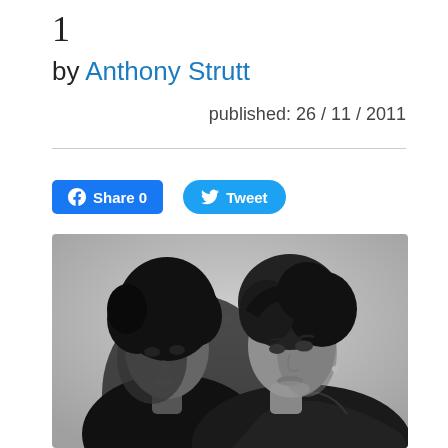1
by Anthony Strutt
published: 26 / 11 / 2011
[Figure (photo): Black and white photograph of two young men with dark curly/wavy hair, one wearing a black jacket, both looking at the camera against a light background.]